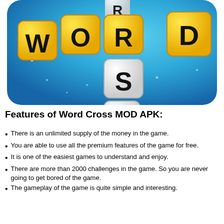[Figure (illustration): Word Cross game app icon showing yellow letter tiles spelling WORD horizontally and white letter tiles spelling S, S vertically on a blue gradient background with sparkle effects and rounded corners]
Features of Word Cross MOD APK:
There is an unlimited supply of the money in the game.
You are able to use all the premium features of the game for free.
It is one of the easiest games to understand and enjoy.
There are more than 2000 challenges in the game. So you are never going to get bored of the game.
The gameplay of the game is quite simple and interesting.